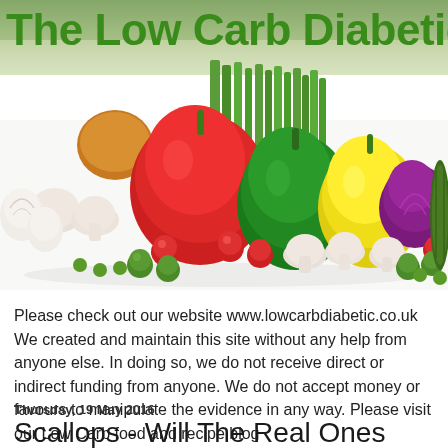[Figure (photo): Blog header image showing 'The Low Carb Diabetic' title in bold green text over a photo of colorful fresh vegetables including red, green, and yellow bell peppers, celery, mushrooms, cherry tomatoes, Brussels sprouts, red onion, and zucchini arranged on a white surface with green leafy background.]
Please check out our website www.lowcarbdiabetic.co.uk We created and maintain this site without any help from anyone else. In doing so, we do not receive direct or indirect funding from anyone. We do not accept money or favours to manipulate the evidence in any way. Please visit our Low Carb food and recipe blog www.lowcarbdietsandrecipes.blogspot.com
Thursday, 19 May 2016
Scallops - Will The Real Ones Please Step Forward